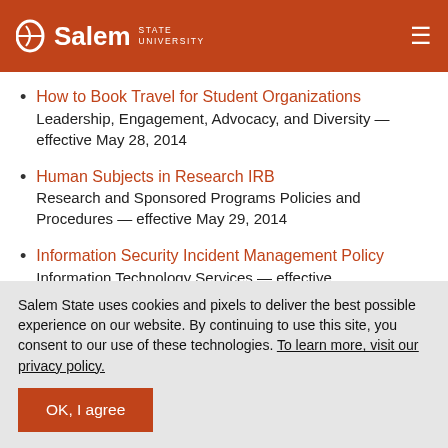Salem State University
How to Book Travel for Student Organizations — Leadership, Engagement, Advocacy, and Diversity — effective May 28, 2014
Human Subjects in Research IRB — Research and Sponsored Programs Policies and Procedures — effective May 29, 2014
Information Security Incident Management Policy — Information Technology Services — effective
Salem State uses cookies and pixels to deliver the best possible experience on our website. By continuing to use this site, you consent to our use of these technologies. To learn more, visit our privacy policy.
OK, I agree